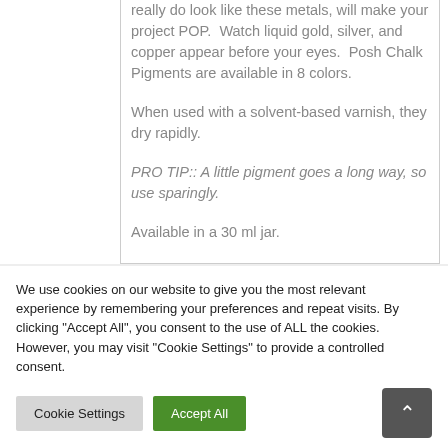really do look like these metals, will make your project POP.  Watch liquid gold, silver, and copper appear before your eyes.  Posh Chalk Pigments are available in 8 colors.

When used with a solvent-based varnish, they dry rapidly.

PRO TIP:: A little pigment goes a long way, so use sparingly.

Available in a 30 ml jar.
We use cookies on our website to give you the most relevant experience by remembering your preferences and repeat visits. By clicking "Accept All", you consent to the use of ALL the cookies. However, you may visit "Cookie Settings" to provide a controlled consent.